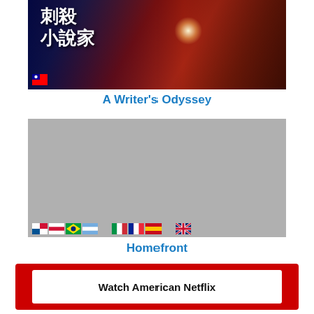[Figure (photo): Movie poster for A Writer's Odyssey with Chinese characters and action scene]
A Writer's Odyssey
[Figure (photo): Movie poster placeholder for Homefront (grey image) with country flags at bottom]
Homefront
Watch American Netflix